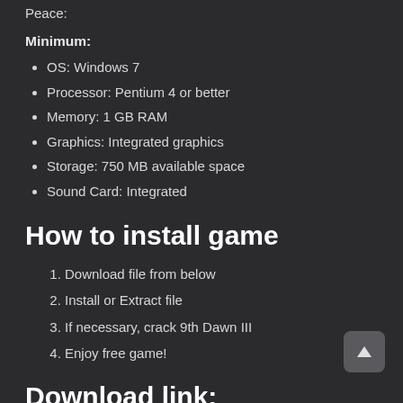Peace:
Minimum:
OS: Windows 7
Processor: Pentium 4 or better
Memory: 1 GB RAM
Graphics: Integrated graphics
Storage: 750 MB available space
Sound Card: Integrated
How to install game
Download file from below
Install or Extract file
If necessary, crack 9th Dawn III
Enjoy free game!
Download link: